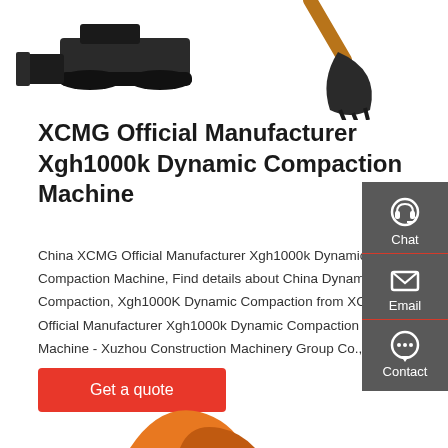[Figure (photo): Construction machinery — a tracked bulldozer/compactor machine with blade on the left, and an excavator bucket on the right, on white background]
XCMG Official Manufacturer Xgh1000k Dynamic Compaction Machine
China XCMG Official Manufacturer Xgh1000k Dynamic Compaction Machine, Find details about China Dynamic Compaction, Xgh1000K Dynamic Compaction from XCMG Official Manufacturer Xgh1000k Dynamic Compaction Machine - Xuzhou Construction Machinery Group Co., Ltd.
[Figure (infographic): Sidebar with Chat, Email, and Contact icons on dark grey background]
Get a quote
[Figure (photo): Orange excavator or construction machine bucket, partially visible at bottom of page]